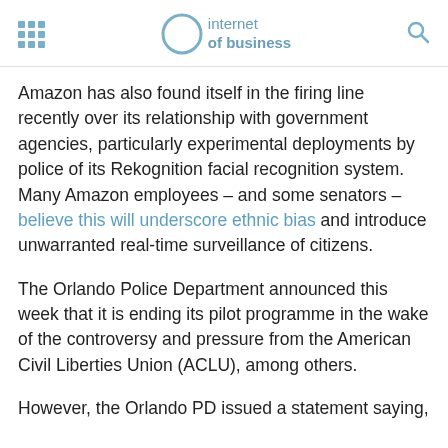internet of business
Amazon has also found itself in the firing line recently over its relationship with government agencies, particularly experimental deployments by police of its Rekognition facial recognition system. Many Amazon employees – and some senators – believe this will underscore ethnic bias and introduce unwarranted real-time surveillance of citizens.
The Orlando Police Department announced this week that it is ending its pilot programme in the wake of the controversy and pressure from the American Civil Liberties Union (ACLU), among others.
However, the Orlando PD issued a statement saying,